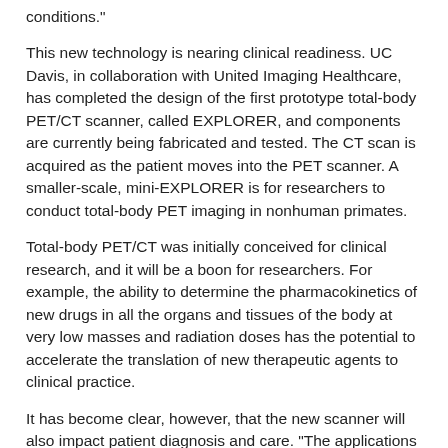conditions."
This new technology is nearing clinical readiness. UC Davis, in collaboration with United Imaging Healthcare, has completed the design of the first prototype total-body PET/CT scanner, called EXPLORER, and components are currently being fabricated and tested. The CT scan is acquired as the patient moves into the PET scanner. A smaller-scale, mini-EXPLORER is for researchers to conduct total-body PET imaging in nonhuman primates.
Total-body PET/CT was initially conceived for clinical research, and it will be a boon for researchers. For example, the ability to determine the pharmacokinetics of new drugs in all the organs and tissues of the body at very low masses and radiation doses has the potential to accelerate the translation of new therapeutic agents to clinical practice.
It has become clear, however, that the new scanner will also impact patient diagnosis and care. "The applications of nuclear medicine will expand considerably across internal medicine at a rate not witnessed to-date, and will become more evenly